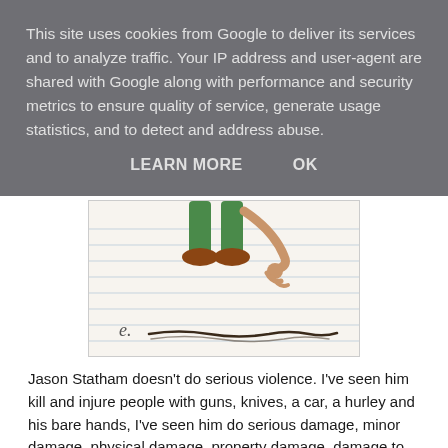This site uses cookies from Google to deliver its services and to analyze traffic. Your IP address and user-agent are shared with Google along with performance and security metrics to ensure quality of service, generate usage statistics, and to detect and address abuse.
LEARN MORE    OK
[Figure (illustration): Partial view of a hand-drawn or cartoon-style illustration showing a character with green clothing, partially cut off at top. Below the character is a cursive letter 'e.' and a handwritten scribble/signature line.]
Jason Statham doesn't do serious violence. I've seen him kill and injure people with guns, knives, a car, a hurley and his bare hands, I've seen him do serious damage, minor damage, physical damage, property damage, damage to space and time and damage to the American accent. But he only hurts the bad guys. If he hurts a good guy, you get to see his remorse. If a good guy gets hurt by someone else, you get to see the vengeance.
And it will be violent.